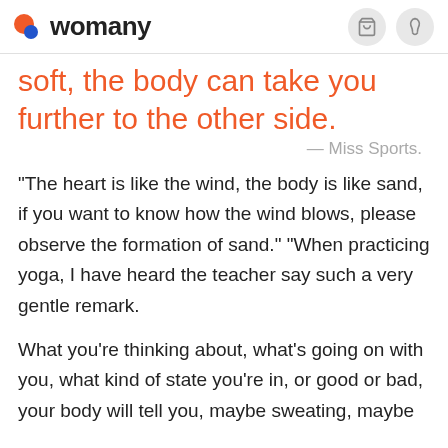womany
soft, the body can take you further to the other side.
— Miss Sports.
"The heart is like the wind, the body is like sand, if you want to know how the wind blows, please observe the formation of sand." "When practicing yoga, I have heard the teacher say such a very gentle remark.
What you're thinking about, what's going on with you, what kind of state you're in, or good or bad, your body will tell you, maybe sweating, maybe